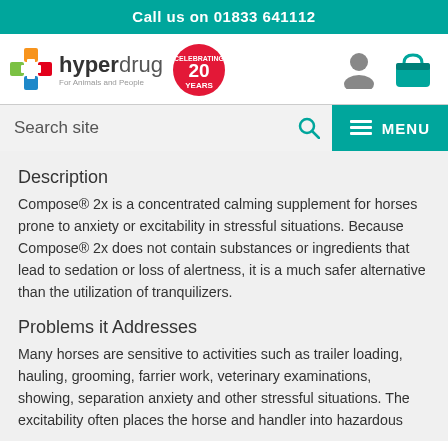Call us on 01833 641112
[Figure (logo): Hyperdrug logo with coloured cross, brand name, tagline 'For Animals and People', and 20 Years celebrating badge]
Search site
Description
Compose® 2x is a concentrated calming supplement for horses prone to anxiety or excitability in stressful situations. Because Compose® 2x does not contain substances or ingredients that lead to sedation or loss of alertness, it is a much safer alternative than the utilization of tranquilizers.
Problems it Addresses
Many horses are sensitive to activities such as trailer loading, hauling, grooming, farrier work, veterinary examinations, showing, separation anxiety and other stressful situations. The excitability often places the horse and handler into hazardous